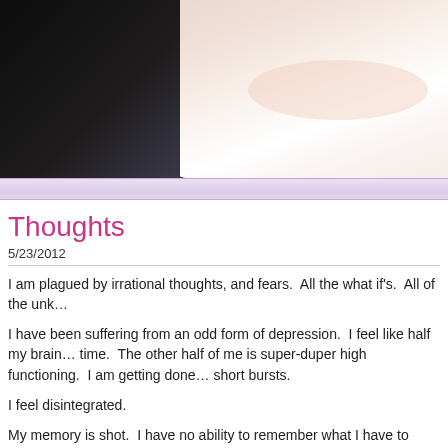[Figure (photo): Close-up photo of a person's face against a dark background, cropped to show partial features, serving as a blog header image]
Thoughts
5/23/2012
I am plagued by irrational thoughts, and fears.  All the what if's.  All of the unk…
I have been suffering from an odd form of depression.  I feel like half my brain… time.  The other half of me is super-duper high functioning.  I am getting done… short bursts.
I feel disintegrated.
My memory is shot.  I have no ability to remember what I have to do…where I… vivid memories that play over and over and over.
I thought I would take a road trip, then I had a near panic attack at the though… people, and I don't want to place myself in a position where I am with people a…